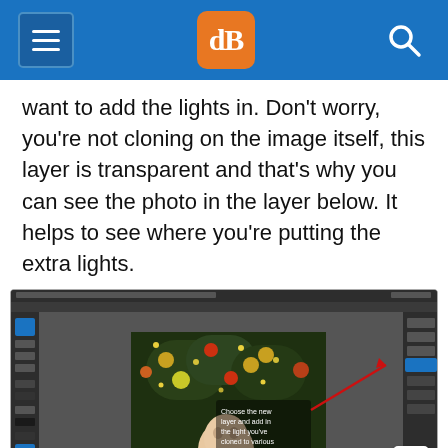[Figure (screenshot): Website navigation bar with hamburger menu icon on left, orange dPS logo in center, and search icon on right, on a blue background]
want to add the lights in. Don’t worry, you’re not cloning on the image itself, this layer is transparent and that’s why you can see the photo in the layer below. It helps to see where you’re putting the extra lights.
[Figure (screenshot): Photoshop screenshot showing a Christmas tree photo with a baby in the foreground, with annotation text: 'Choose the new layer and add in the light you've cloned to various spots in the tree.' A red arrow points to a layer panel on the right.]